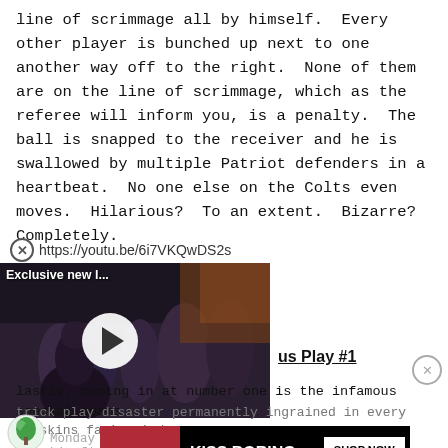line of scrimmage all by himself.  Every other player is bunched up next to one another way off to the right.  None of them are on the line of scrimmage, which as the referee will inform you, is a penalty.  The ball is snapped to the receiver and he is swallowed by multiple Patriot defenders in a heartbeat.  No one else on the Colts even moves.  Hilarious?  To an extent.  Bizarre?  Completely.
https://youtu.be/6i7VKQwDS2s
[Figure (screenshot): Embedded YouTube video thumbnail showing a dark scene with text 'Exclusive new l...' and a play button overlay]
us Play #1
lastly, coming in at number one is the infamous special teams
trick play disaster permanently ingrained in every Redskins fan's mind.
[Figure (screenshot): Macy's advertisement banner: 'KISS BORING LIPS GOODBYE' with SHOP NOW button and Macy's star logo]
Monday night game.  Head coach Jim Zorn sends his field